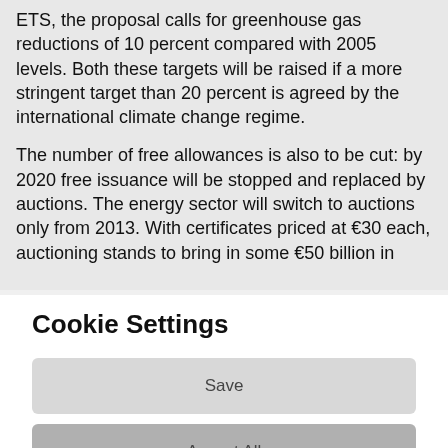ETS, the proposal calls for greenhouse gas reductions of 10 percent compared with 2005 levels. Both these targets will be raised if a more stringent target than 20 percent is agreed by the international climate change regime.
The number of free allowances is also to be cut: by 2020 free issuance will be stopped and replaced by auctions. The energy sector will switch to auctions only from 2013. With certificates priced at €30 each, auctioning stands to bring in some €50 billion in
Cookie Settings
Save
Accept All